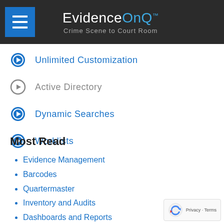EvidenceOnQ™ — Crime Scene to Court Room
Unlimited Customization
Active Directory
Dynamic Searches
Worklists
Most Read
Evidence Management
Barcodes
Quartermaster
Inventory and Audits
Dashboards and Reports